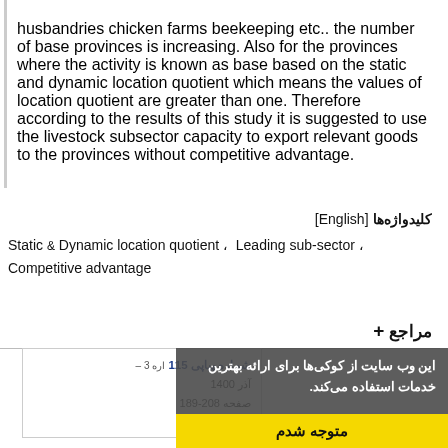husbandries chicken farms beekeeping etc.. the number of base provinces is increasing. Also for the provinces where the activity is known as base based on the static and dynamic location quotient which means the values of location quotient are greater than one. Therefore according to the results of this study it is suggested to use the livestock subsector capacity to export relevant goods to the provinces without competitive advantage.
کلیدواژه‌ها [English]
Static & Dynamic location quotient ،  Leading sub-sector ، Competitive advantage
+ مراجع
[Figure (screenshot): A cookie notice overlay in Persian with a yellow 'متوجه شدم' (I understand) button, overlapping a journal article citation box showing publication details in Persian including issue number 115, date آذر 1400, and pages 208-189.]